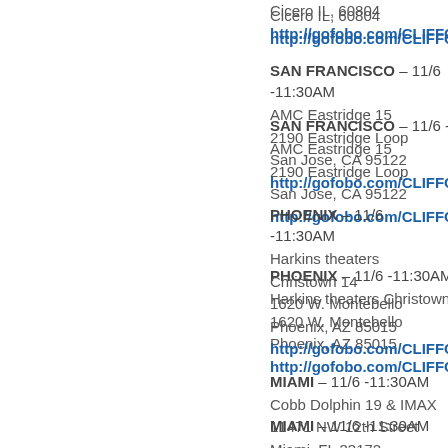Cicero IL, 60804
http://gofobo.com/CLIFFORDSCOO
SAN FRANCISCO – 11/6 -11:30AM
AMC Eastridge 15
2190 Eastridge Loop
San Jose, CA 95122
http://gofobo.com/CLIFFORDSCOO
PHOENIX – 11/6 -11:30AM
Harkins theaters Christown 14
1620 W. Montebello
Phoenix, AZ 85015
http://gofobo.com/CLIFFORDSCOO
MIAMI – 11/6 -11:30AM
Cobb Dolphin 19 & IMAX
11471 NW 12th Street
Miami, FL 33172
http://gofobo.com/CLIFFORDSCOO
HOUSTON – 11/6 -11:30AM
AMC Gulf Pointe 30
11801 S. Sam Houston Pkwy E